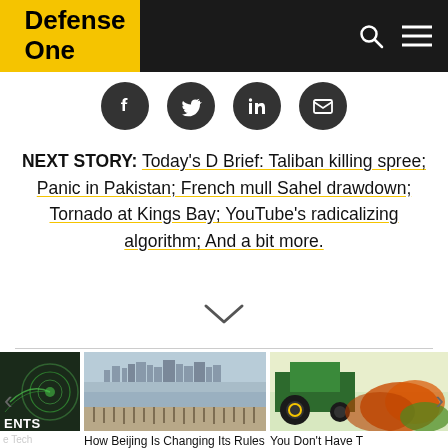Defense One
[Figure (other): Social sharing icons: Facebook, Twitter, LinkedIn, Email]
NEXT STORY: Today's D Brief: Taliban killing spree; Panic in Pakistan; French mull Sahel drawdown; Tornado at Kings Bay; YouTube's radicalizing algorithm; And a bit more.
[Figure (other): Down chevron/arrow navigation indicator]
[Figure (photo): Left partial card: technology/defense image with text 'EVENTS' and label 'e Tech']
[Figure (photo): Middle card: aerial/waterfront photo of city skyline across water with rocky shoreline foreground]
How Beijing Is Changing Its Rules Around Taiwan
[Figure (photo): Right partial card: green tractor/machinery with foliage]
You Don't Have T... Violate The Espio...